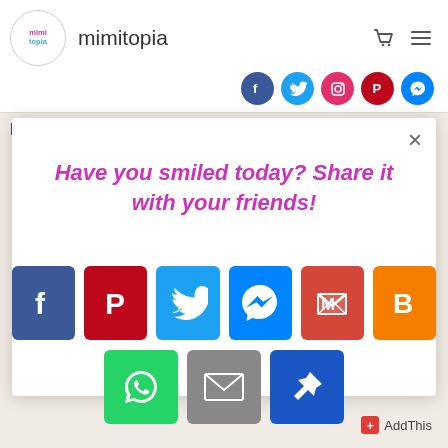mimitopia
E-mail
Have you smiled today? Share it with your friends!
[Figure (infographic): Social share buttons: Facebook, Pinterest, Twitter, Messenger, Gmail, Blogger (top row); WhatsApp, Email, Pin (bottom row)]
AddThis